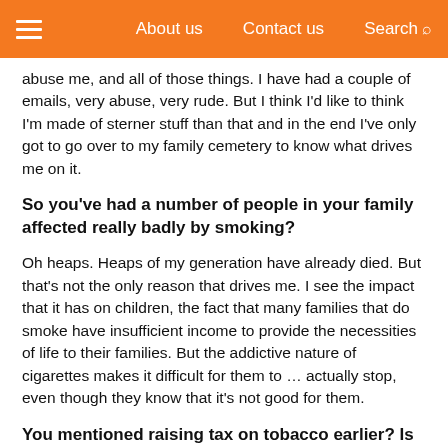About us   Contact us   Search
abuse me, and all of those things. I have had a couple of emails, very abuse, very rude. But I think I'd like to think I'm made of sterner stuff than that and in the end I've only got to go over to my family cemetery to know what drives me on it.
So you've had a number of people in your family affected really badly by smoking?
Oh heaps. Heaps of my generation have already died. But that's not the only reason that drives me. I see the impact that it has on children, the fact that many families that do smoke have insufficient income to provide the necessities of life to their families. But the addictive nature of cigarettes makes it difficult for them to … actually stop, even though they know that it's not good for them.
You mentioned raising tax on tobacco earlier? Is